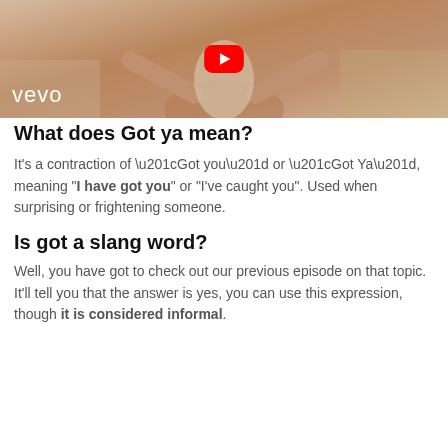[Figure (screenshot): A Vevo music video thumbnail showing a performer in white outfit with arms raised. A YouTube play button icon is centered at the top. The Vevo logo appears in white at the bottom left.]
What does Got ya mean?
It's a contraction of “Got you” or “Got Ya”, meaning “I have got you” or "I've caught you". Used when surprising or frightening someone.
Is got a slang word?
Well, you have got to check out our previous episode on that topic. It'll tell you that the answer is yes, you can use this expression, though it is considered informal.